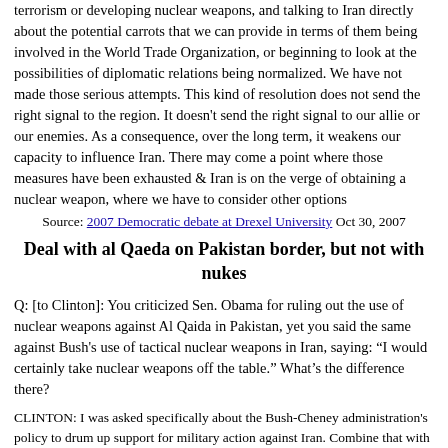terrorism or developing nuclear weapons, and talking to Iran directly about the potential carrots that we can provide in terms of them being involved in the World Trade Organization, or beginning to look at the possibilities of diplomatic relations being normalized. We have not made those serious attempts. This kind of resolution does not send the right signal to the region. It doesn't send the right signal to our allie or our enemies. As a consequence, over the long term, it weakens our capacity to influence Iran. There may come a point where those measures have been exhausted & Iran is on the verge of obtaining a nuclear weapon, where we have to consider other options
Source: 2007 Democratic debate at Drexel University Oct 30, 2007
Deal with al Qaeda on Pakistan border, but not with nukes
Q: [to Clinton]: You criticized Sen. Obama for ruling out the use of nuclear weapons against Al Qaida in Pakistan, yet you said the same against Bush's use of tactical nuclear weapons in Iran, saying: "I would certainly take nuclear weapons off the table." What's the difference there?
CLINTON: I was asked specifically about the Bush-Cheney administration's policy to drum up support for military action against Iran. Combine that with their continuing effort to try to get "bunker-buster" nuclear bombs that could penetrate into the earth to go after deeply buried nuclear sites. This was not a hypothetical,